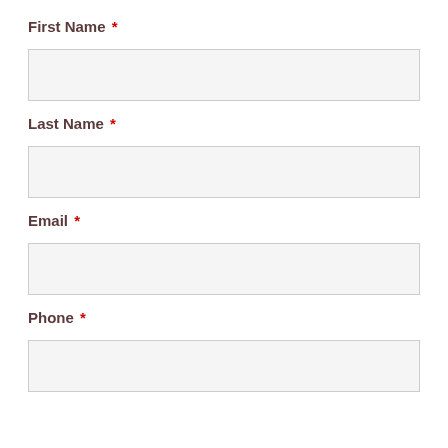First Name *
[Figure (other): Empty text input field for First Name]
Last Name *
[Figure (other): Empty text input field for Last Name]
Email *
[Figure (other): Empty text input field for Email]
Phone *
[Figure (other): Empty text input field for Phone]